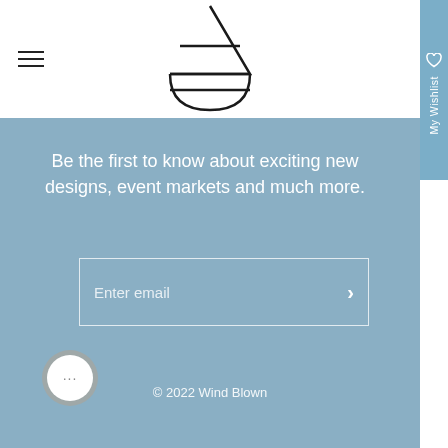[Figure (logo): Wind Blown brand logo — geometric symbol combining a triangle and a half-circle (bowl shape) with a horizontal dividing line, rendered in black outline on white background]
Be the first to know about exciting new designs, event markets and much more.
Enter email
© 2022 Wind Blown